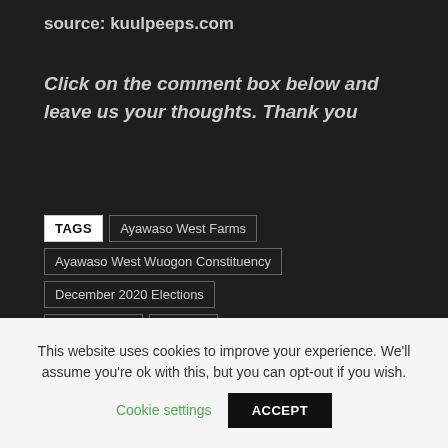source: kuulpeeps.com
Click on the comment box below and leave us your thoughts. Thank you
TAGS | Ayawaso West Farms | Ayawaso West Wuogon Constituency | December 2020 Elections | John Dumelo | trending
This website uses cookies to improve your experience. We'll assume you're ok with this, but you can opt-out if you wish.
Cookie settings
ACCEPT